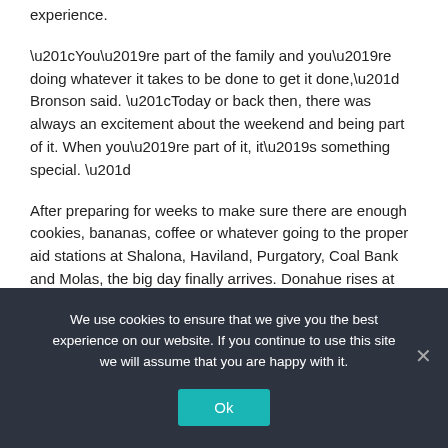experience.
“You’re part of the family and you’re doing whatever it takes to be done to get it done,” Bronson said. “Today or back then, there was always an excitement about the weekend and being part of it. When you’re part of it, it’s something special. ”
After preparing for weeks to make sure there are enough cookies, bananas, coffee or whatever going to the proper aid stations at Shalona, Haviland, Purgatory, Coal Bank and Molas, the big day finally arrives. Donahue rises at about 4 am to get things rolling. He makes sure people – store employees, other volunteers – and supplies are delivered to the proper places.
We use cookies to ensure that we give you the best experience on our website. If you continue to use this site we will assume that you are happy with it.